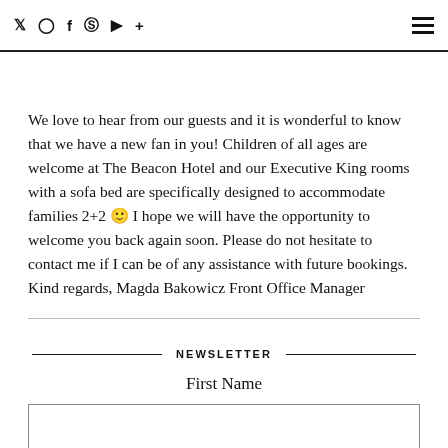Social media icons: Twitter, Instagram, Facebook, Pinterest, YouTube, Plus | Hamburger menu
Dear Heightmags, Thank you for taking the time to post about your recent stay at The Beacon Hotel. I'm absolutely thrilled to hear how much you enjoyed it. We love to hear from our guests and it is wonderful to know that we have a new fan in you! Children of all ages are welcome at The Beacon Hotel and our Executive King rooms with a sofa bed are specifically designed to accommodate families 2+2 🙂 I hope we will have the opportunity to welcome you back again soon. Please do not hesitate to contact me if I can be of any assistance with future bookings. Kind regards, Magda Bakowicz Front Office Manager
NEWSLETTER
First Name